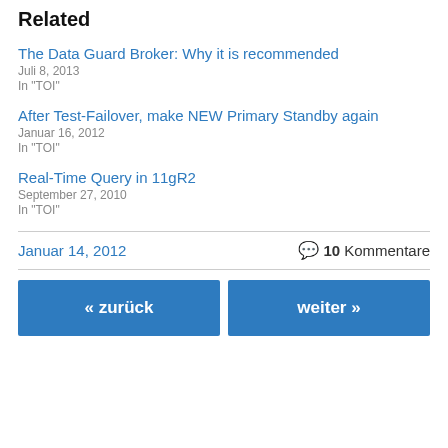Related
The Data Guard Broker: Why it is recommended
Juli 8, 2013
In "TOI"
After Test-Failover, make NEW Primary Standby again
Januar 16, 2012
In "TOI"
Real-Time Query in 11gR2
September 27, 2010
In "TOI"
Januar 14, 2012   💬 10 Kommentare
« zurück   weiter »